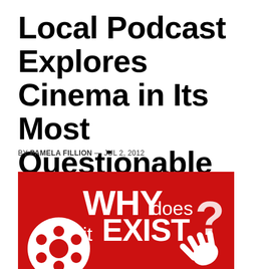Local Podcast Explores Cinema in Its Most Questionable Forms
BY PAMELA FILLION — JUL 2, 2012
[Figure (illustration): Red square podcast logo with white text reading 'WHY does it EXIST?' with a white film reel icon in the lower left and a white hand/claw icon in the lower right.]